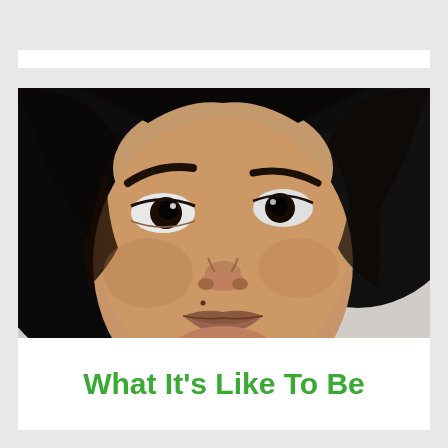[Figure (photo): Close-up photo of a young South Asian woman wearing a dark hijab, looking upward with large dark eyes, neutral expression, against a light background.]
What It's Like To Be